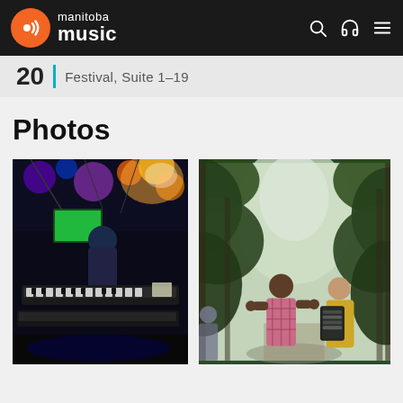manitoba music
20 | Festival, Suite 1–19
Photos
[Figure (photo): Concert stage scene with performer at keyboards/synthesizers under colorful stage lights with blue and purple hues, green laptop screen visible]
[Figure (photo): Two musicians on a leafy green forest path — one person in a pink plaid shirt singing, another person in a yellow jacket playing an accordion/keyboard]